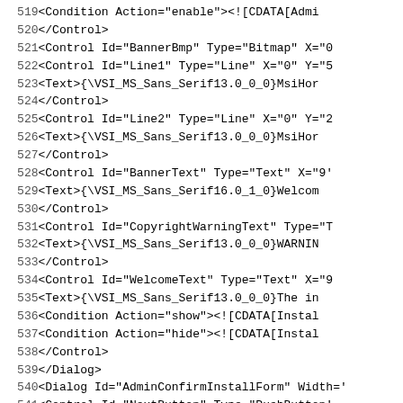Code listing lines 519–544, XML/WiX installer configuration file snippet
| Line | Code |
| --- | --- |
| 519 |     <Condition Action="enable"><![CDATA[Admi |
| 520 |     </Control> |
| 521 |     <Control Id="BannerBmp" Type="Bitmap" X="0 |
| 522 |     <Control Id="Line1" Type="Line" X="0" Y="5 |
| 523 |       <Text>{\VSI_MS_Sans_Serif13.0_0_0}MsiHor |
| 524 |     </Control> |
| 525 |     <Control Id="Line2" Type="Line" X="0" Y="2 |
| 526 |       <Text>{\VSI_MS_Sans_Serif13.0_0_0}MsiHor |
| 527 |     </Control> |
| 528 |     <Control Id="BannerText" Type="Text" X="9' |
| 529 |       <Text>{\VSI_MS_Sans_Serif16.0_1_0}Welcom |
| 530 |     </Control> |
| 531 |     <Control Id="CopyrightWarningText" Type="T |
| 532 |       <Text>{\VSI_MS_Sans_Serif13.0_0_0}WARNIN |
| 533 |     </Control> |
| 534 |     <Control Id="WelcomeText" Type="Text" X="9 |
| 535 |       <Text>{\VSI_MS_Sans_Serif13.0_0_0}The in |
| 536 |       <Condition Action="show"><![CDATA[Instal |
| 537 |       <Condition Action="hide"><![CDATA[Instal |
| 538 |     </Control> |
| 539 |   </Dialog> |
| 540 |   <Dialog Id="AdminConfirmInstallForm" Width=' |
| 541 |     <Control Id="NextButton" Type="PushButton' |
| 542 |       <Text>{\VSI_MS_Sans_Serif13.0_0_0}&amp;N |
| 543 |       <Publish Event="EndDialog" Value="Return |
| 544 |       <Publish Event="NewDialog" Value="[Admin |